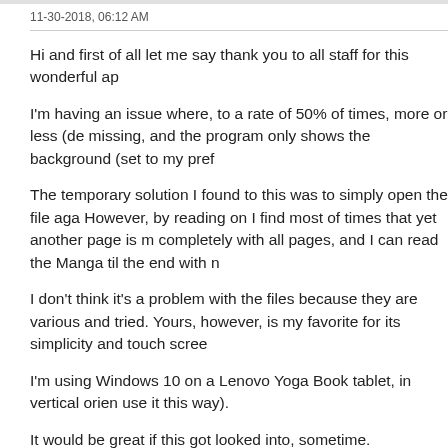11-30-2018, 06:12 AM
Hi and first of all let me say thank you to all staff for this wonderful ap
I'm having an issue where, to a rate of 50% of times, more or less (de missing, and the program only shows the background (set to my pref
The temporary solution I found to this was to simply open the file aga However, by reading on I find most of times that yet another page is r completely with all pages, and I can read the Manga til the end with n
I don't think it's a problem with the files because they are various and tried. Yours, however, is my favorite for its simplicity and touch scree
I'm using Windows 10 on a Lenovo Yoga Book tablet, in vertical orien use it this way).
It would be great if this got looked into, sometime.
If you need any more information on my part please inquire.
Thank you and once again congratulations on such a wonderful app!